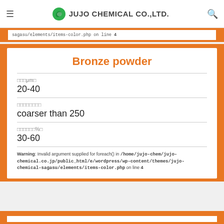JUJO CHEMICAL CO.,LTD.
sagasu/elements/items-color.php on line 4
Bronze powder
□□□μm□
20-40
□□□□□□□□
coarser than 250
□□□□□□%□
30-60
Warning: Invalid argument supplied for foreach() in /home/jujo-chem/jujo-chemical.co.jp/public_html/e/wordpress/wp-content/themes/jujo-chemical-sagasu/elements/items-color.php on line 4